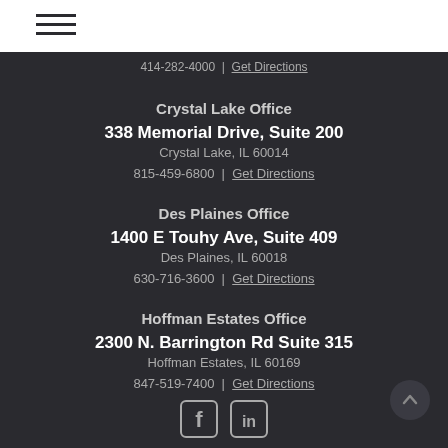Navigation menu (hamburger icon)
414-282-4000 | Get Directions
Crystal Lake Office
338 Memorial Drive, Suite 200
Crystal Lake, IL 60014
815-459-6800 | Get Directions
Des Plaines Office
1400 E Touhy Ave, Suite 409
Des Plaines, IL 60018
630-716-3600 | Get Directions
Hoffman Estates Office
2300 N. Barrington Rd Suite 315
Hoffman Estates, IL 60169
847-519-7400 | Get Directions
[Figure (illustration): Facebook and LinkedIn social media icons at bottom of page]